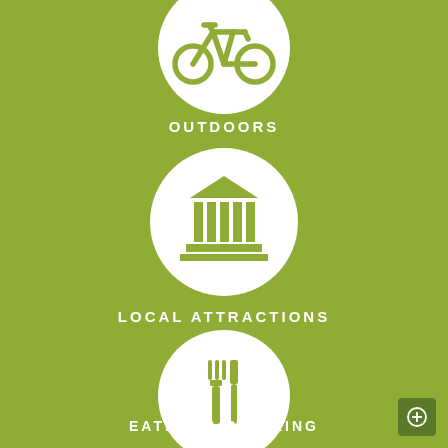[Figure (infographic): Bicycle icon in white circle on green background (partially visible at top)]
OUTDOORS
[Figure (infographic): Classical building/museum icon in white circle on green background]
LOCAL ATTRACTIONS
[Figure (infographic): Fork and knife icon in white circle on green background]
EATING & DRINKING